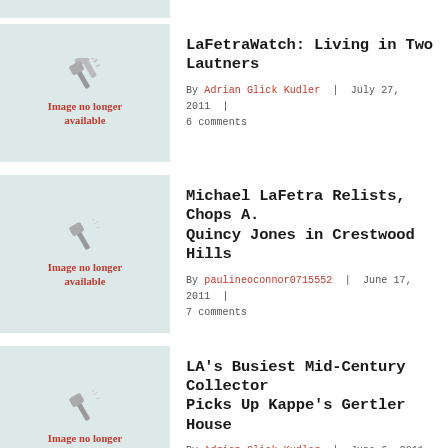[Figure (illustration): Image no longer available placeholder with hammer icon on light teal background]
LaFetraWatch: Living in Two Lautners
By Adrian Glick Kudler | July 27, 2011 | 6 comments
[Figure (illustration): Image no longer available placeholder with hammer icon on light teal background]
Michael LaFetra Relists, Chops A. Quincy Jones in Crestwood Hills
By paulineoconnor0715552 | June 17, 2011 | 7 comments
[Figure (illustration): Image no longer available placeholder with hammer icon on light teal background]
LA's Busiest Mid-Century Collector Picks Up Kappe's Gertler House
By Adrian Glick Kudler | June 6, 2011 | 14 comments